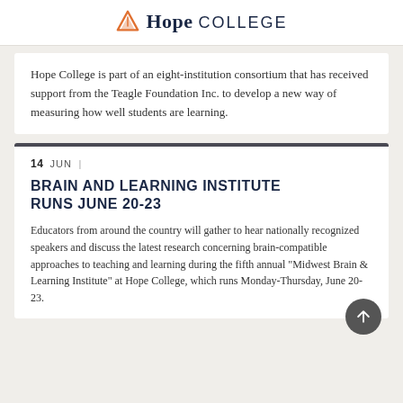Hope College
Hope College is part of an eight-institution consortium that has received support from the Teagle Foundation Inc. to develop a new way of measuring how well students are learning.
14 JUN
BRAIN AND LEARNING INSTITUTE RUNS JUNE 20-23
Educators from around the country will gather to hear nationally recognized speakers and discuss the latest research concerning brain-compatible approaches to teaching and learning during the fifth annual "Midwest Brain & Learning Institute" at Hope College, which runs Monday-Thursday, June 20-23.